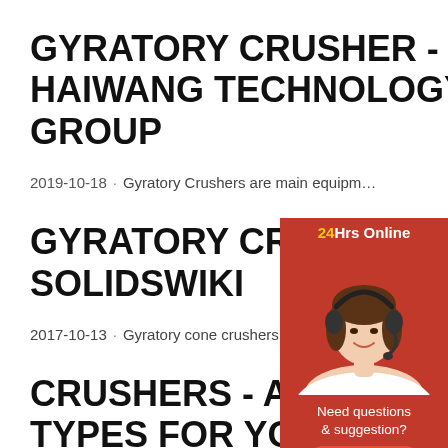GYRATORY CRUSHER - HAIWANG TECHNOLOGY GROUP
2019-10-18 · Gyratory Crushers are main equipm…
GYRATORY CRUSHER - SOLIDSWIKI
2017-10-13 · Gyratory cone crushers can be use…
CRUSHERS - ALL CRU… TYPES FOR YOUR
[Figure (photo): Chat widget with woman wearing headset, '24Hrs Online' header, 'Need questions & suggestion?', 'Chat Now' button, 'Enquiry' and 'limingjlmofen' sections]